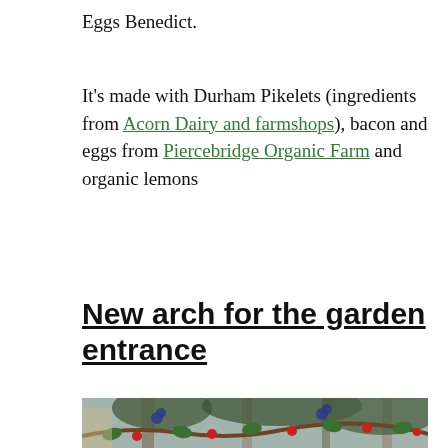Eggs Benedict.
It's made with Durham Pikelets (ingredients from Acorn Dairy and farmshops), bacon and eggs from Piercebridge Organic Farm and organic lemons
New arch for the garden entrance
[Figure (photo): Photo of a decorative garden arch with red berries and blue flowers/berries against a backdrop of tall trees and a building]